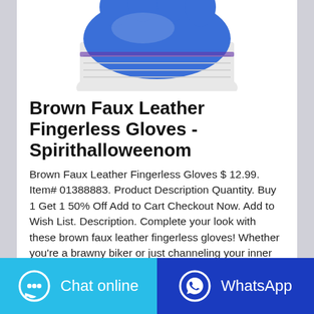[Figure (photo): Blue and white fingerless glove product photo, partially cropped at top]
Brown Faux Leather Fingerless Gloves - Spirithalloweenom
Brown Faux Leather Fingerless Gloves $ 12.99. Item# 01388883. Product Description Quantity. Buy 1 Get 1 50% Off Add to Cart Checkout Now. Add to Wish List. Description. Complete your look with these brown faux leather fingerless gloves! Whether you're a brawny biker or just channeling your inner bad boy, this is the perfect accessory for any ...
Contact the manufacturer
WhatsApp
Chat online
WhatsApp